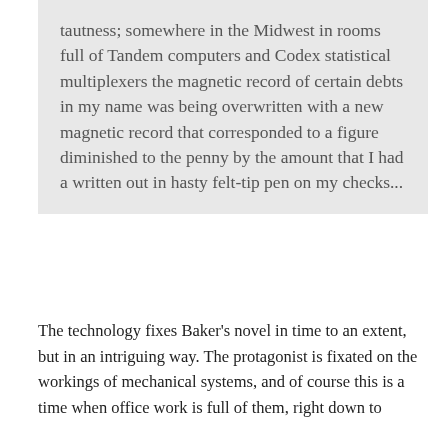tautness; somewhere in the Midwest in rooms full of Tandem computers and Codex statistical multiplexers the magnetic record of certain debts in my name was being overwritten with a new magnetic record that corresponded to a figure diminished to the penny by the amount that I had a written out in hasty felt-tip pen on my checks...
The technology fixes Baker's novel in time to an extent, but in an intriguing way. The protagonist is fixated on the workings of mechanical systems, and of course this is a time when office work is full of them, right down to